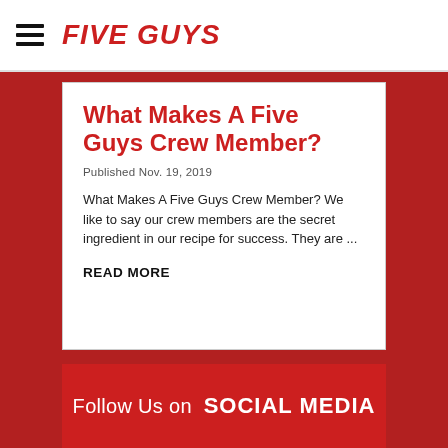FIVE GUYS
What Makes A Five Guys Crew Member?
Published Nov. 19, 2019
What Makes A Five Guys Crew Member? We like to say our crew members are the secret ingredient in our recipe for success. They are ...
READ MORE
Follow Us on SOCIAL MEDIA
[Figure (other): Dark red social media content area placeholder]